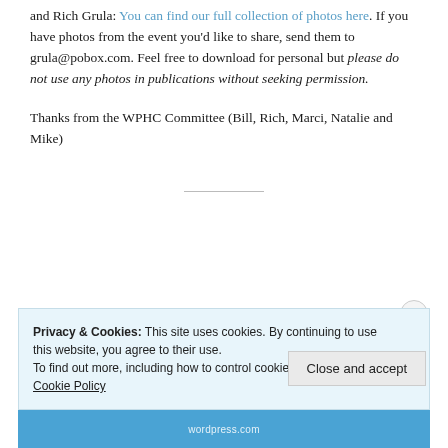and Rich Grula. You can find our full collection of photos here. If you have photos from the event you'd like to share, send them to grula@pobox.com. Feel free to download for personal but please do not use any photos in publications without seeking permission.
Thanks from the WPHC Committee (Bill, Rich, Marci, Natalie and Mike)
Privacy & Cookies: This site uses cookies. By continuing to use this website, you agree to their use.
To find out more, including how to control cookies, see here: Cookie Policy